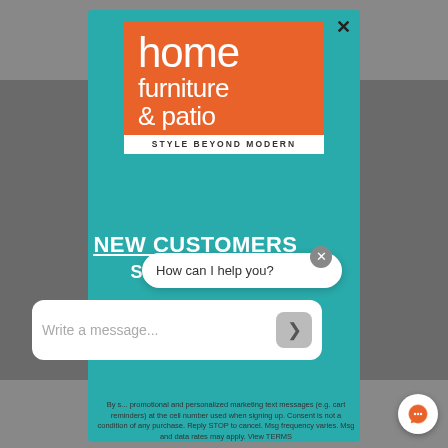[Figure (screenshot): Home Furniture & Patio logo on teal background. Orange square with white text reading 'home furniture & patio' and tagline 'STYLE BEYOND MODERN' in white bar below.]
NEW CUSTOMERS
SEPTEMBER
How can I help you?
Write a message...
By s... promotional and personalized marketing text messages (e.g. cart reminders) at the cell number used when signing up. Consent is not a condition of any purchase. Reply STOP to cancel. Msg frequency varies. Msg and data rates may apply. View TERMS